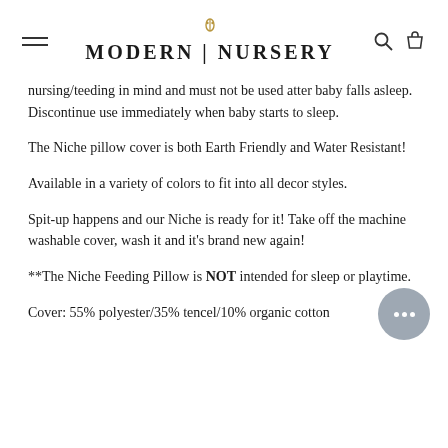MODERN NURSERY
nursing/teeding in mind and must not be used atter baby falls asleep. Discontinue use immediately when baby starts to sleep.
The Niche pillow cover is both Earth Friendly and Water Resistant!
Available in a variety of colors to fit into all decor styles.
Spit-up happens and our Niche is ready for it! Take off the machine washable cover, wash it and it's brand new again!
**The Niche Feeding Pillow is NOT intended for sleep or playtime.
Cover: 55% polyester/35% tencel/10% organic cotton